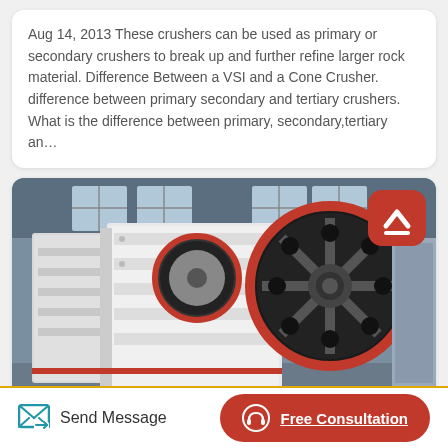Aug 14, 2013 These crushers can be used as primary or secondary crushers to break up and further refine larger rock material. Difference Between a VSI and a Cone Crusher. difference between primary secondary and tertiary crushers. What is the difference between primary, secondary,tertiary an…
[Figure (photo): Industrial jaw crusher machine photographed in a factory/warehouse setting. Large white crusher body with prominent red-trimmed black flywheel on the right side. Multiple unit machines visible in the background. Industrial facility with visible windows and ceiling structure.]
Send Message
Free Consultation